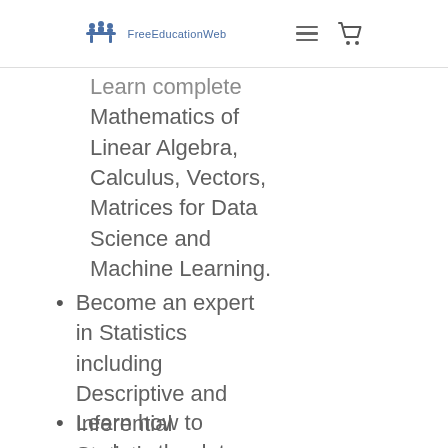FreeEducationWeb
Learn complete Mathematics of Linear Algebra, Calculus, Vectors, Matrices for Data Science and Machine Learning.
Become an expert in Statistics including Descriptive and Inferential Statistics.
Learn how to analyse the data